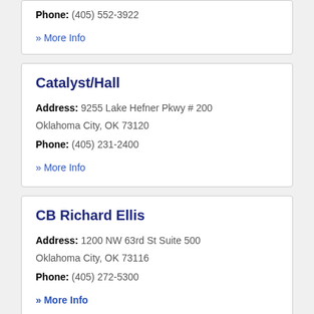Phone: (405) 552-3922
» More Info
Catalyst/Hall
Address: 9255 Lake Hefner Pkwy # 200 Oklahoma City, OK 73120
Phone: (405) 231-2400
» More Info
CB Richard Ellis
Address: 1200 NW 63rd St Suite 500 Oklahoma City, OK 73116
Phone: (405) 272-5300
» More Info